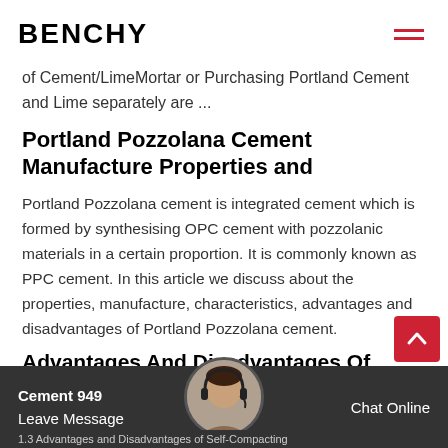BENCHY
of Cement/LimeMortar or Purchasing Portland Cement and Lime separately are ...
Portland Pozzolana Cement Manufacture Properties and
Portland Pozzolana cement is integrated cement which is formed by synthesising OPC cement with pozzolanic materials in a certain proportion. It is commonly known as PPC cement. In this article we discuss about the properties, manufacture, characteristics, advantages and disadvantages of Portland Pozzolana cement.
Advantages And Disadvantages Of Portland Cement 949
Leave Message
Chat Online
1.3 Advantages and Disadvantages of Self-Compacting